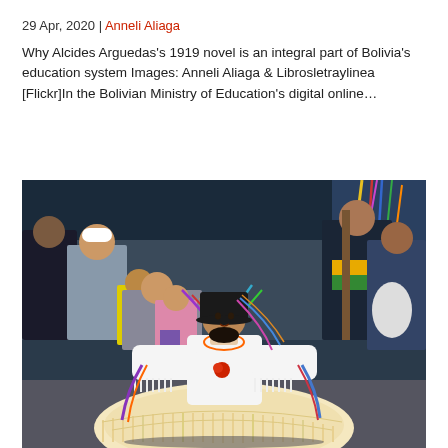29 Apr, 2020 | Anneli Aliaga
Why Alcides Arguedas's 1919 novel is an integral part of Bolivia's education system Images: Anneli Aliaga & Librosletraylinea [Flickr]In the Bolivian Ministry of Education's digital online…
[Figure (photo): A young girl in traditional Bolivian cholita dress with a black bowler hat, white fringed skirt, and colorful ribbons, dancing at an outdoor festival. Crowd of spectators visible in the background.]